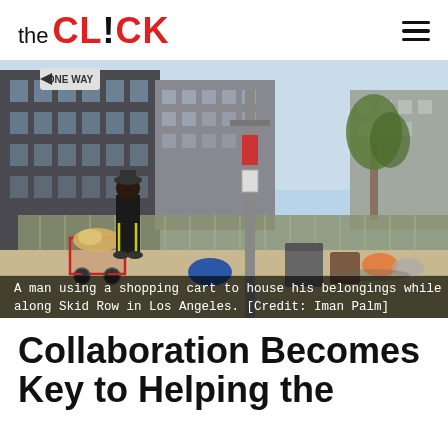the CLICK
[Figure (photo): A man using a shopping cart to house his belongings while traveling along Skid Row in Los Angeles. Street scene with fencing, buildings, and a utility pole in the background.]
A man using a shopping cart to house his belongings while traveling along Skid Row in Los Angeles. [Credit: Iman Palm]
Collaboration Becomes Key to Helping the Homeless in Downtown...